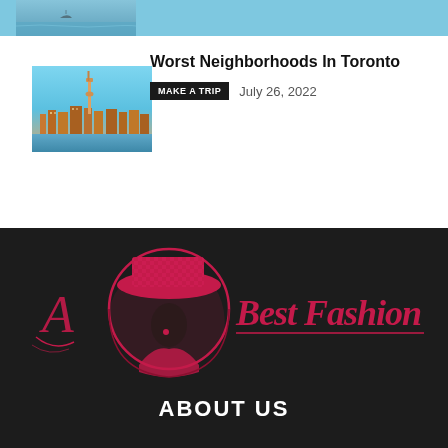[Figure (photo): Partial image of water/boat scene at top of page]
[Figure (photo): Photo of Toronto skyline with CN Tower and waterfront]
Worst Neighborhoods In Toronto
MAKE A TRIP  July 26, 2022
[Figure (logo): A Best Fashion logo — stylized woman with large hat inside a circle, cursive script reading 'A Best Fashion' in crimson/red on dark background]
ABOUT US